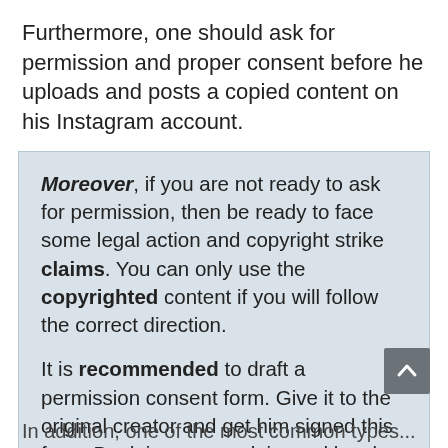Furthermore, one should ask for permission and proper consent before he uploads and posts a copied content on his Instagram account.
Moreover, if you are not ready to ask for permission, then be ready to face some legal action and copyright strike claims. You can only use the copyrighted content if you will follow the correct direction.

It is recommended to draft a permission consent form. Give it to the original creator and get him signed this form. By doing so, no claim and legal action will be made against you.
In addition, one of the most common types...